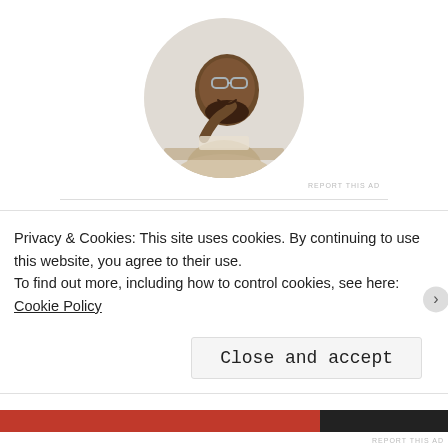[Figure (photo): Circular profile photo of a man wearing glasses, smiling, resting chin on hand, sitting at a desk]
REPORT THIS AD
Recent Posts
Question to Open, Not Close August 31, 2022
Privacy & Cookies: This site uses cookies. By continuing to use this website, you agree to their use.
To find out more, including how to control cookies, see here: Cookie Policy
Close and accept